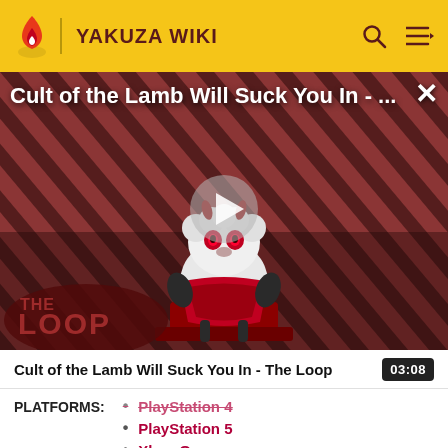YAKUZA WIKI
[Figure (screenshot): Video thumbnail for 'Cult of the Lamb Will Suck You In - The Loop' showing a cartoon lamb character on a red/dark striped background with The Loop branding and a play button overlay]
Cult of the Lamb Will Suck You In - The Loop
03:08
PLATFORMS:
PlayStation 4
PlayStation 5
Xbox One
Xbox Series X|S